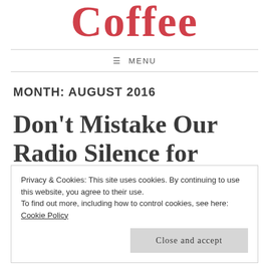Coffee
≡ MENU
MONTH: AUGUST 2016
Don't Mistake Our Radio Silence for
Privacy & Cookies: This site uses cookies. By continuing to use this website, you agree to their use.
To find out more, including how to control cookies, see here: Cookie Policy
Close and accept